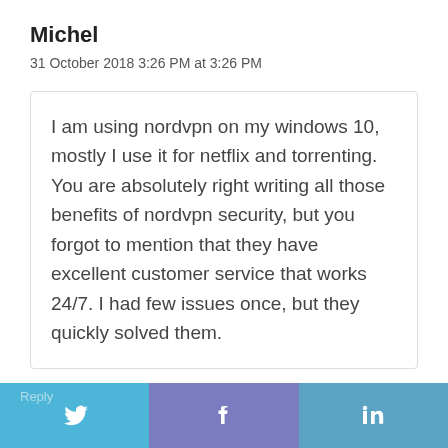Michel
31 October 2018 3:26 PM at 3:26 PM
I am using nordvpn on my windows 10, mostly I use it for netflix and torrenting. You are absolutely right writing all those benefits of nordvpn security, but you forgot to mention that they have excellent customer service that works 24/7. I had few issues once, but they quickly solved them.
Reply
[Figure (logo): Twitter bird icon on blue background]
[Figure (logo): Facebook f icon on purple-blue background]
[Figure (logo): LinkedIn in icon on blue background]